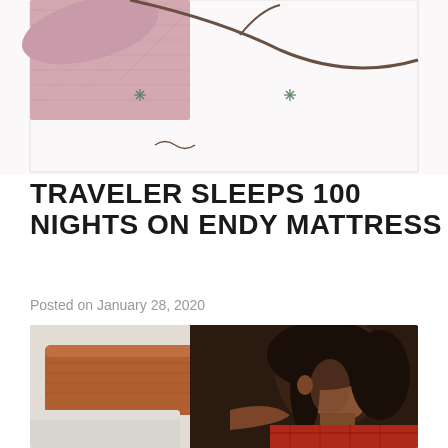[Figure (illustration): Top portion of an illustration showing a person with a plant/tree branch against a white background with small decorative elements]
TRAVELER SLEEPS 100 NIGHTS ON ENDY MATTRESS
Posted on January 28, 2020
[Figure (photo): A woman with dark curly hair wearing a red plaid shirt, sitting beside a wooden bed headboard, eyes closed, resting]